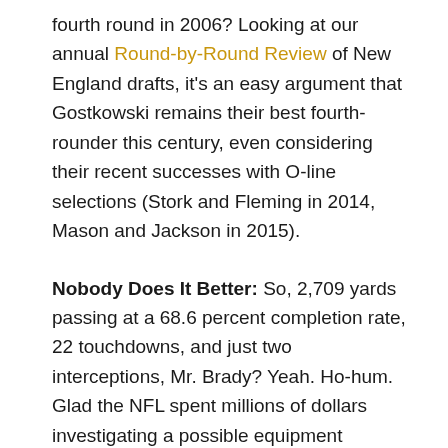fourth round in 2006? Looking at our annual Round-by-Round Review of New England drafts, it's an easy argument that Gostkowski remains their best fourth-rounder this century, even considering their recent successes with O-line selections (Stork and Fleming in 2014, Mason and Jackson in 2015).
Nobody Does It Better: So, 2,709 yards passing at a 68.6 percent completion rate, 22 touchdowns, and just two interceptions, Mr. Brady? Yeah. Ho-hum. Glad the NFL spent millions of dollars investigating a possible equipment violation that had no impact on his performance.